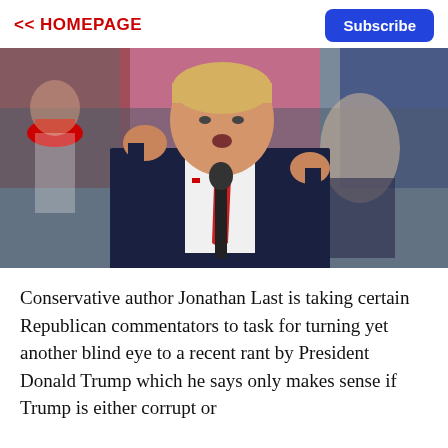<< HOMEPAGE
Subscribe
[Figure (photo): Donald Trump speaking at a rally, gesturing with both hands raised, wearing a dark navy suit and red tie, standing in front of a microphone. Background shows a crowd with pink and red signs.]
Conservative author Jonathan Last is taking certain Republican commentators to task for turning yet another blind eye to a recent rant by President Donald Trump which he says only makes sense if Trump is either corrupt or